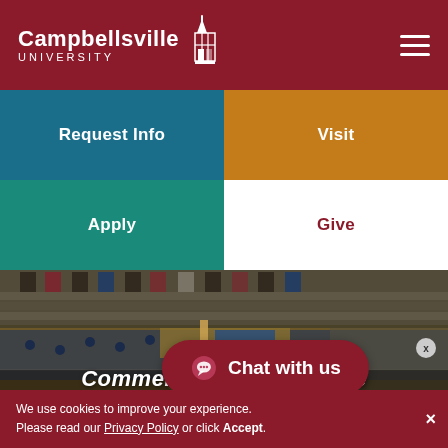[Figure (logo): Campbellsville University logo with tower icon on dark red background]
Request Info
Visit
Apply
Give
[Figure (photo): Aerial view of a packed gymnasium during a university commencement ceremony, showing graduates in blue gowns and spectators filling the bleachers]
Commencement Schedule
Chat with us
Academics › Commencement › Commencement
We use cookies to improve your experience. Please read our Privacy Policy or click Accept.